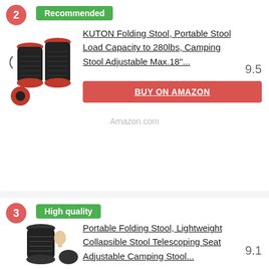[Figure (photo): Product listing card #2 with 'Recommended' badge, image of KUTON folding stools (black and red), product title, score 9.5, and BUY ON AMAZON button]
KUTON Folding Stool, Portable Stool Load Capacity to 280lbs, Camping Stool Adjustable Max.18"...
9.5
BUY ON AMAZON
Amazon.com
[Figure (photo): Product listing card #3 with 'High quality' badge, image of Portable Folding Stool (black), product title, score 9.1]
Portable Folding Stool, Lightweight Collapsible Stool Telescoping Seat Adjustable Camping Stool...
9.1